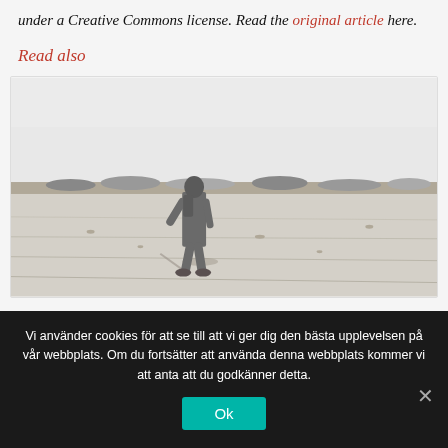under a Creative Commons license. Read the original article here.
Read also
[Figure (photo): Black and white photo of a soldier standing in a barren desert landscape, with a group of people visible in the background.]
Vi använder cookies för att se till att vi ger dig den bästa upplevelsen på vår webbplats. Om du fortsätter att använda denna webbplats kommer vi att anta att du godkänner detta.